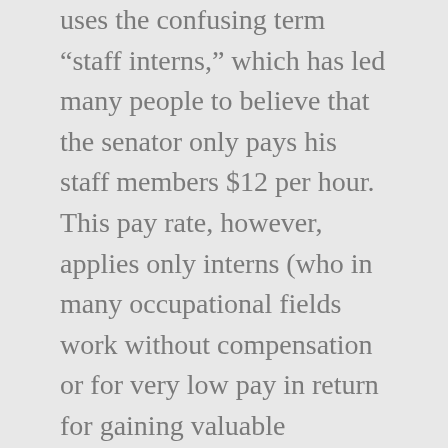uses the confusing term “staff interns,” which has led many people to believe that the senator only pays his staff members $12 per hour. This pay rate, however, applies only interns (who in many occupational fields work without compensation or for very low pay in return for gaining valuable experience) filling positions available to college students and recent graduates seeking work in